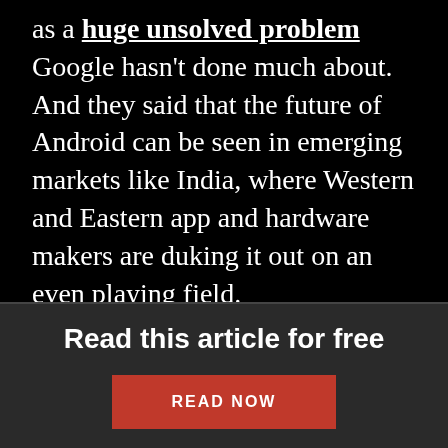as a huge unsolved problem Google hasn't done much about. And they said that the future of Android can be seen in emerging markets like India, where Western and Eastern app and hardware makers are duking it out on an even playing field.
Here's a transcript of the event—their views in their own words—edited for length and clarity.
Read this article for free
READ NOW